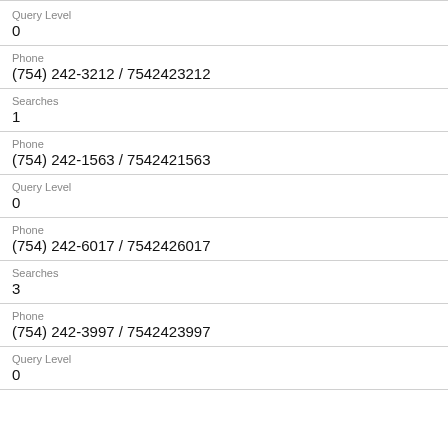Query Level
0
Phone
(754) 242-3212 / 7542423212
Searches
1
Phone
(754) 242-1563 / 7542421563
Query Level
0
Phone
(754) 242-6017 / 7542426017
Searches
3
Phone
(754) 242-3997 / 7542423997
Query Level
0